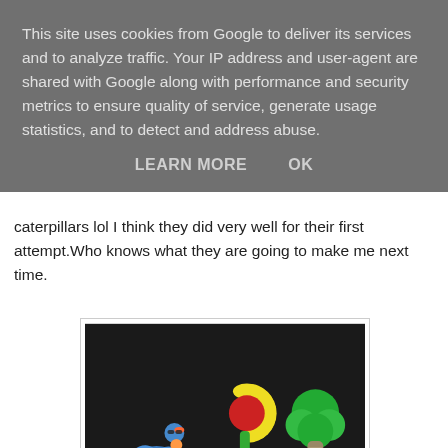This site uses cookies from Google to deliver its services and to analyze traffic. Your IP address and user-agent are shared with Google along with performance and security metrics to ensure quality of service, generate usage statistics, and to detect and address abuse.
LEARN MORE   OK
caterpillars lol I think they did very well for their first attempt.Who knows what they are going to make me next time.
[Figure (photo): Photo of clay or craft figures on a dark background including a blue butterfly/bird figure, a yellow sunflower, a green tree, a small robot-like figure, yellow bones/shapes, and a small red caterpillar.]